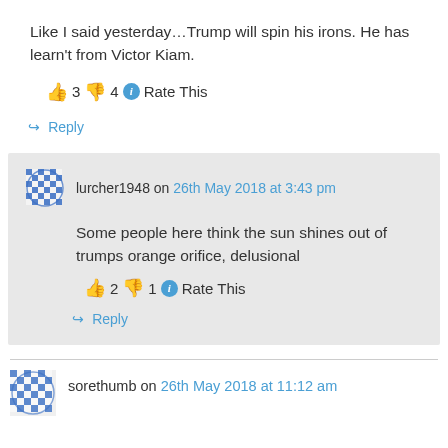Like I said yesterday…Trump will spin his irons. He has learn't from Victor Kiam.
👍 3 👎 4 ℹ Rate This
↪ Reply
lurcher1948 on 26th May 2018 at 3:43 pm
Some people here think the sun shines out of trumps orange orifice, delusional
👍 2 👎 1 ℹ Rate This
↪ Reply
sorethumb on 26th May 2018 at 11:12 am